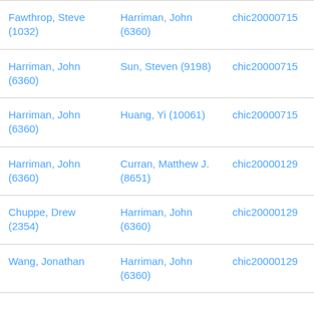| Fawthrop, Steve (1032) | Harriman, John (6360) | chic20000715 |
| Harriman, John (6360) | Sun, Steven (9198) | chic20000715 |
| Harriman, John (6360) | Huang, Yi (10061) | chic20000715 |
| Harriman, John (6360) | Curran, Matthew J. (8651) | chic20000129 |
| Chuppe, Drew (2354) | Harriman, John (6360) | chic20000129 |
| Wang, Jonathan | Harriman, John (6360) | chic20000129 |